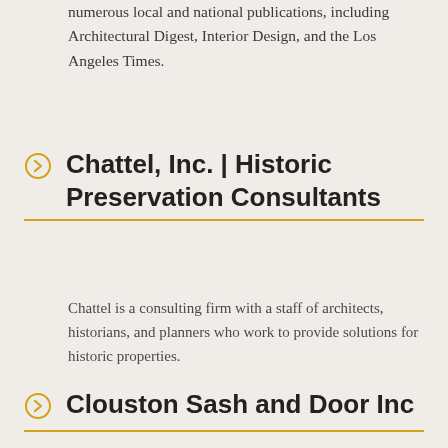numerous local and national publications, including Architectural Digest, Interior Design, and the Los Angeles Times.
Chattel, Inc. | Historic Preservation Consultants
Chattel is a consulting firm with a staff of architects, historians, and planners who work to provide solutions for historic properties.
Clouston Sash and Door Inc